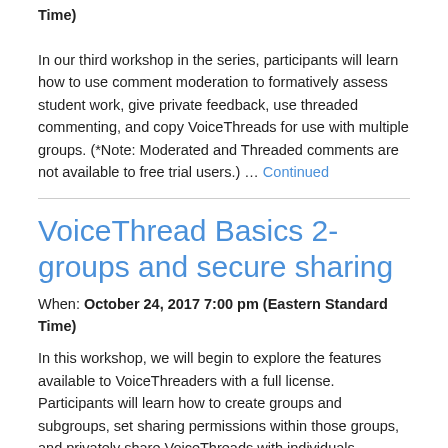Time)

In our third workshop in the series, participants will learn how to use comment moderation to formatively assess student work, give private feedback, use threaded commenting, and copy VoiceThreads for use with multiple groups. (*Note: Moderated and Threaded comments are not available to free trial users.) … Continued
VoiceThread Basics 2- groups and secure sharing
When: October 24, 2017 7:00 pm (Eastern Standard Time)
In this workshop, we will begin to explore the features available to VoiceThreaders with a full license. Participants will learn how to create groups and subgroups, set sharing permissions within those groups, and privately share VoiceThreads with individuals … Continued